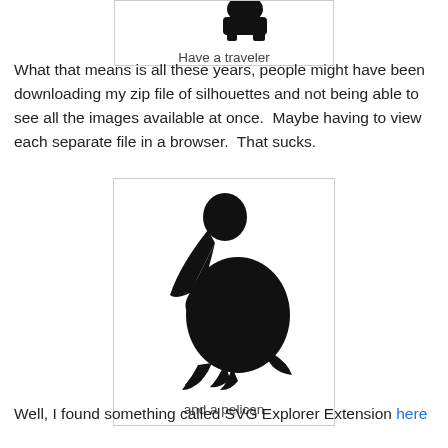[Figure (illustration): Silhouette image of a traveler figure (partial, top of page)]
Have a traveler
What that means is all these years, people might have been downloading my zip file of silhouettes and not being able to see all the images available at once.  Maybe having to view each separate file in a browser.  That sucks.
[Figure (illustration): Black silhouette of a pelican bird standing, facing left]
and a pelican
Well, I found something called SVG Explorer Extension here